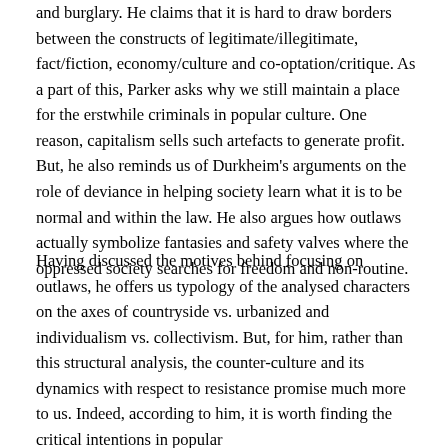and burglary. He claims that it is hard to draw borders between the constructs of legitimate/illegitimate, fact/fiction, economy/culture and co-optation/critique. As a part of this, Parker asks why we still maintain a place for the erstwhile criminals in popular culture. One reason, capitalism sells such artefacts to generate profit. But, he also reminds us of Durkheim's arguments on the role of deviance in helping society learn what it is to be normal and within the law. He also argues how outlaws actually symbolize fantasies and safety valves where the oppressed society searches for freedom and non-routine.
Having discussed the motives behind focusing on outlaws, he offers us typology of the analysed characters on the axes of countryside vs. urbanized and individualism vs. collectivism. But, for him, rather than this structural analysis, the counter-culture and its dynamics with respect to resistance promise much more to us. Indeed, according to him, it is worth finding the critical intentions in popular